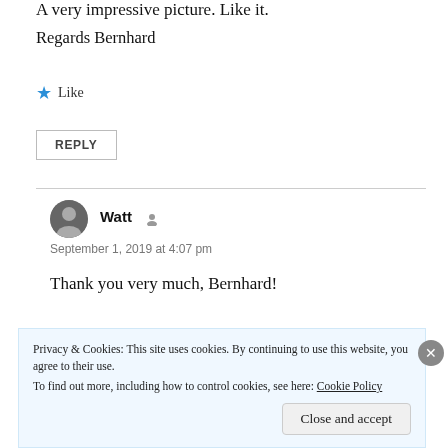A very impressive picture. Like it.
Regards Bernhard
★ Like
REPLY
Watt
September 1, 2019 at 4:07 pm
Thank you very much, Bernhard!
Privacy & Cookies: This site uses cookies. By continuing to use this website, you agree to their use.
To find out more, including how to control cookies, see here: Cookie Policy
Close and accept